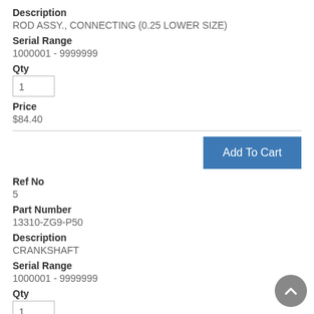Description
ROD ASSY., CONNECTING (0.25 LOWER SIZE)
Serial Range
1000001 - 9999999
Qty
1
Price
$84.40
Add To Cart
Ref No
5
Part Number
13310-ZG9-P50
Description
CRANKSHAFT
Serial Range
1000001 - 9999999
Qty
1